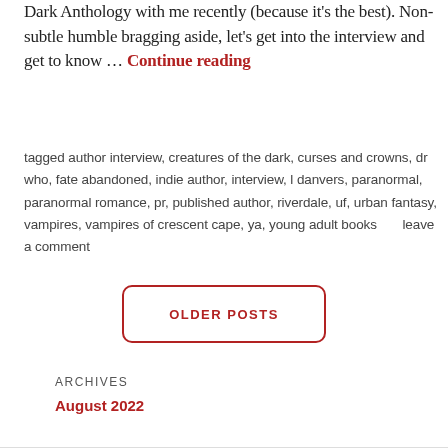Dark Anthology with me recently (because it's the best). Non-subtle humble bragging aside, let's get into the interview and get to know … Continue reading
tagged author interview, creatures of the dark, curses and crowns, dr who, fate abandoned, indie author, interview, l danvers, paranormal, paranormal romance, pr, published author, riverdale, uf, urban fantasy, vampires, vampires of crescent cape, ya, young adult books      leave a comment
OLDER POSTS
ARCHIVES
August 2022